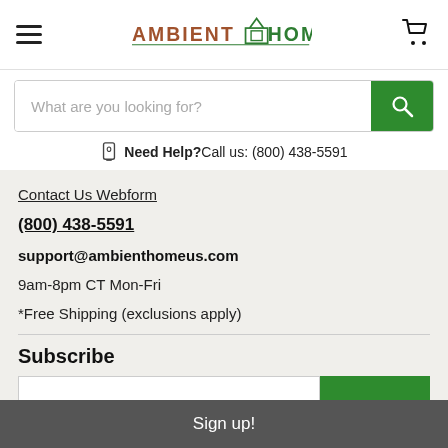[Figure (logo): Ambient Home logo with house icon, text in brown and green]
What are you looking for?
Need Help? Call us: (800) 438-5591
Contact Us Webform
(800) 438-5591
support@ambienthomeus.com
9am-8pm CT Mon-Fri
*Free Shipping (exclusions apply)
Subscribe
Sign up!